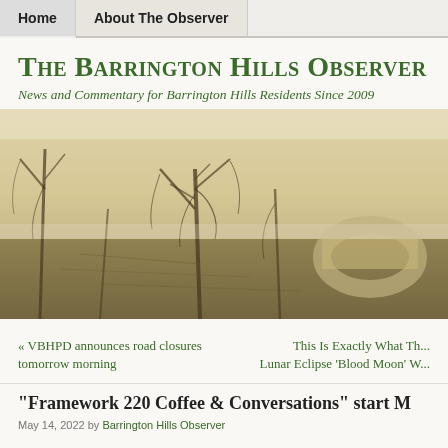Home | About The Observer
The Barrington Hills Observer
News and Commentary for Barrington Hills Residents Since 2009
[Figure (photo): Foggy winter landscape with bare trees reflected in water and a stone bridge visible in the background, sepia/golden tone]
« VBHPD announces road closures tomorrow morning
This Is Exactly What Th... Lunar Eclipse 'Blood Moon' W...
"Framework 220 Coffee & Conversations" start M
May 14, 2022 by Barrington Hills Observer